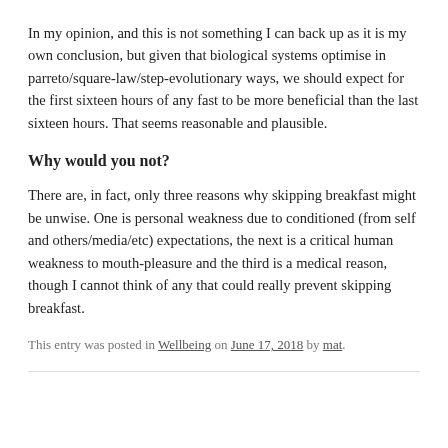In my opinion, and this is not something I can back up as it is my own conclusion, but given that biological systems optimise in parreto/square-law/step-evolutionary ways, we should expect for the first sixteen hours of any fast to be more beneficial than the last sixteen hours. That seems reasonable and plausible.
Why would you not?
There are, in fact, only three reasons why skipping breakfast might be unwise. One is personal weakness due to conditioned (from self and others/media/etc) expectations, the next is a critical human weakness to mouth-pleasure and the third is a medical reason, though I cannot think of any that could really prevent skipping breakfast.
This entry was posted in Wellbeing on June 17, 2018 by mat.